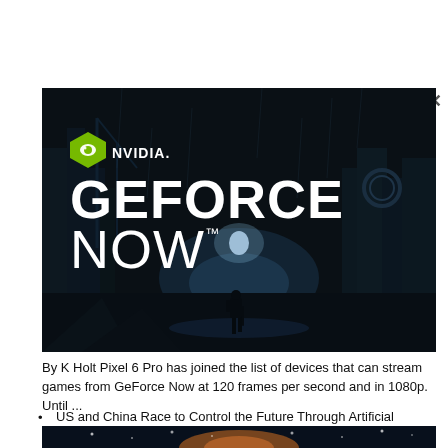[Figure (logo): NVIDIA GeForce NOW logo and promotional banner image showing a dark atmospheric game scene with a silhouetted character in a post-apocalyptic cityscape. The NVIDIA logo with green shield icon is in the upper left, with 'GEFORCE NOW' text below it in large white letters.]
By K Holt Pixel 6 Pro has joined the list of devices that can stream games from GeForce Now at 120 frames per second and in 1080p. Until ...
US and China Race to Control the Future Through Artificial Intelligence
[Figure (screenshot): Partial bottom strip of another article image showing a dark blue space/night scene with orange glow and small bright dots resembling stars or lights.]